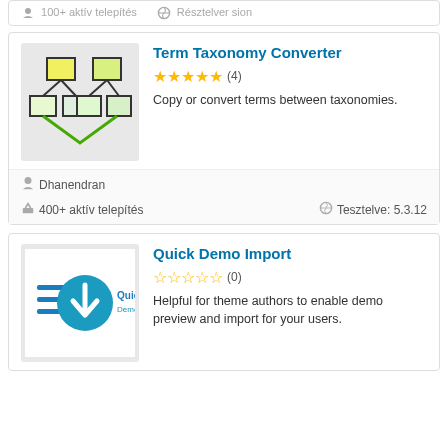[Figure (screenshot): Top partial card showing footer with aktív telepítés and Részletver sion info]
[Figure (illustration): Term Taxonomy Converter plugin icon: two tree-hierarchy diagrams connected by green V-shape on grey background]
Term Taxonomy Converter
★★★★★ (4)
Copy or convert terms between taxonomies.
Dhanendran
400+ aktív telepítés
Tesztelve: 5.3.12
[Figure (logo): Quick Demo Import plugin logo: teal circle with down-arrow and horizontal lines]
Quick Demo Import
☆☆☆☆☆ (0)
Helpful for theme authors to enable demo preview and import for your users.